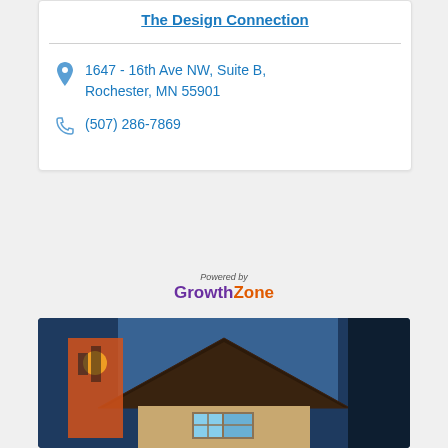The Design Connection
1647 - 16th Ave NW, Suite B, Rochester, MN 55901
(507) 286-7869
[Figure (logo): Powered by GrowthZone logo with purple 'Growth' and orange 'Zone' text]
[Figure (photo): Photo of a house rooftop with sky and decorative elements]